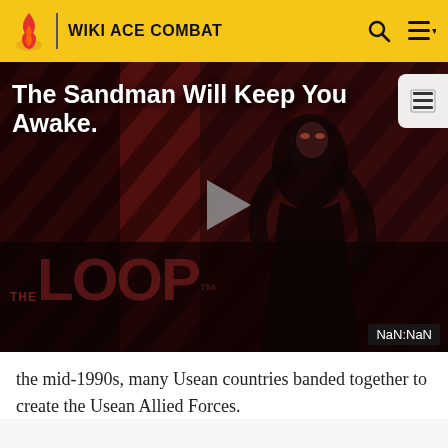WIKI ACE COMBAT
[Figure (screenshot): Video player thumbnail showing a stylized dark figure against a red diagonal striped background, with 'THE LOOP' text overlay and a play button in the center. Title reads 'The Sandman Will Keep You Awake.' with a NaN:NaN duration badge.]
the mid-1990s, many Usean countries banded together to create the Usean Allied Forces.
This alliance was tested when a group of southern Usean countries attempted to join the Osean Federation in 1997 through a military pact. Some conservative extremists